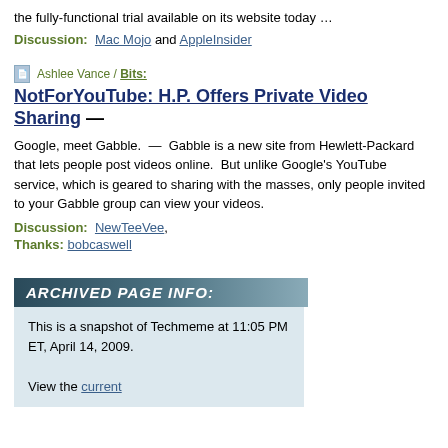the fully-functional trial available on its website today …
Discussion: Mac Mojo and AppleInsider
Ashlee Vance / Bits:
NotForYouTube: H.P. Offers Private Video Sharing —
Google, meet Gabble. — Gabble is a new site from Hewlett-Packard that lets people post videos online. But unlike Google's YouTube service, which is geared to sharing with the masses, only people invited to your Gabble group can view your videos.
Discussion: NewTeeVee, Thanks: bobcaswell
[Figure (other): Archived Page Info banner with dark teal gradient background and italic bold white text reading ARCHIVED PAGE INFO:]
This is a snapshot of Techmeme at 11:05 PM ET, April 14, 2009. View the current